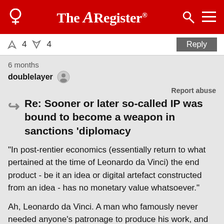The Register
↑ 4  ↓ 4   Reply
6 months
doublelayer
Report abuse
Re: Sooner or later so-called IP was bound to become a weapon in sanctions 'diplomacy
"In post-rentier economics (essentially return to what pertained at the time of Leonardo da Vinci) the end product - be it an idea or digital artefact constructed from an idea - has no monetary value whatsoever."
Ah, Leonardo da Vinci. A man who famously never needed anyone's patronage to produce his work, and whose original art is valued at zero because the copies are exactly the same. If you're going to